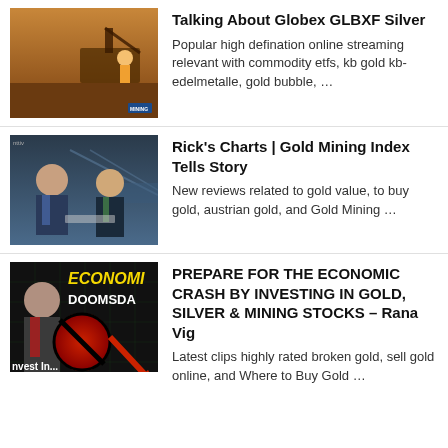[Figure (screenshot): Thumbnail showing mining equipment with text 'Diverse Mining Royalty Stock' on orange/brown background]
Talking About Globex GLBXF Silver
Popular high defination online streaming relevant with commodity etfs, kb gold kb-edelmetalle, gold bubble, …
[Figure (screenshot): Thumbnail showing two men in suits in a TV interview setting with bridge background]
Rick's Charts | Gold Mining Index Tells Story
New reviews related to gold value, to buy gold, austrian gold, and Gold Mining …
[Figure (screenshot): Thumbnail with yellow text 'ECONOMIC DOOMSDA' and 'DOOMSDAY' with 'nvest In... old & Silver' and a no-symbol with red arrow on dark background]
PREPARE FOR THE ECONOMIC CRASH BY INVESTING IN GOLD, SILVER & MINING STOCKS – Rana Vig
Latest clips highly rated broken gold, sell gold online, and Where to Buy Gold …